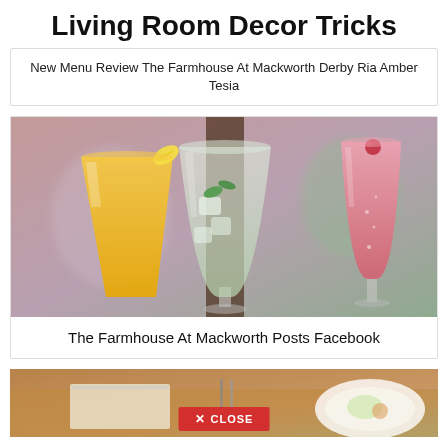Living Room Decor Tricks
New Menu Review The Farmhouse At Mackworth Derby Ria Amber Tesia
[Figure (photo): Three cocktail glasses: a yellow drink with lemon, a sparkling water with ice and mint, and a pink sparkling drink with raspberry, on a blurred background.]
The Farmhouse At Mackworth Posts Facebook
[Figure (photo): Partial view of a table setting with food, partially cropped at bottom of page, with a red CLOSE button overlay.]